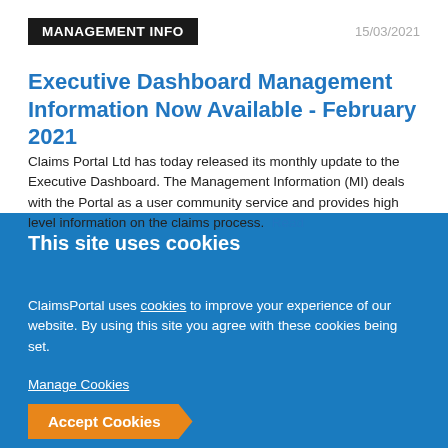MANAGEMENT INFO   15/03/2021
Executive Dashboard Management Information Now Available - February 2021
Claims Portal Ltd has today released its monthly update to the Executive Dashboard. The Management Information (MI) deals with the Portal as a user community service and provides high level information on the claims process.  Read
This site uses cookies
ClaimsPortal uses cookies to improve your experience of our website. By using this site you agree with these cookies being set.
Manage Cookies
Accept Cookies